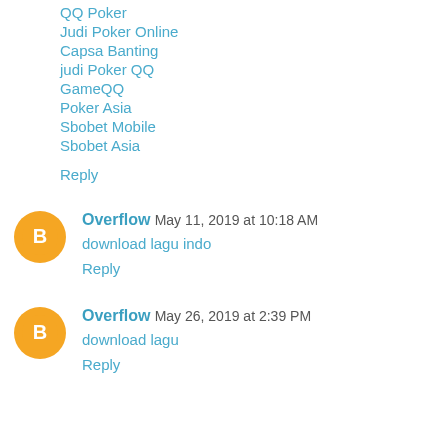QQ Poker
Judi Poker Online
Capsa Banting
judi Poker QQ
GameQQ
Poker Asia
Sbobet Mobile
Sbobet Asia
Reply
Overflow May 11, 2019 at 10:18 AM
download lagu indo
Reply
Overflow May 26, 2019 at 2:39 PM
download lagu
Reply